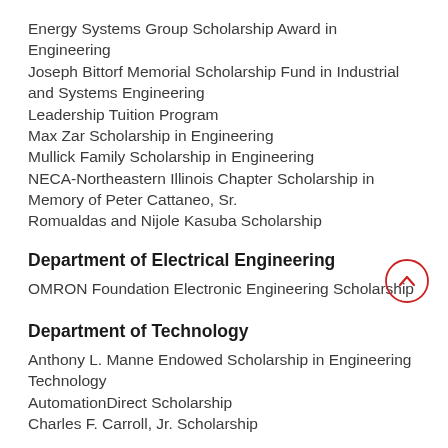Energy Systems Group Scholarship Award in Engineering
Joseph Bittorf Memorial Scholarship Fund in Industrial and Systems Engineering
Leadership Tuition Program
Max Zar Scholarship in Engineering
Mullick Family Scholarship in Engineering
NECA-Northeastern Illinois Chapter Scholarship in Memory of Peter Cattaneo, Sr.
Romualdas and Nijole Kasuba Scholarship
Department of Electrical Engineering
OMRON Foundation Electronic Engineering Scholarship
Department of Technology
Anthony L. Manne Endowed Scholarship in Engineering Technology
AutomationDirect Scholarship
Charles F. Carroll, Jr. Scholarship